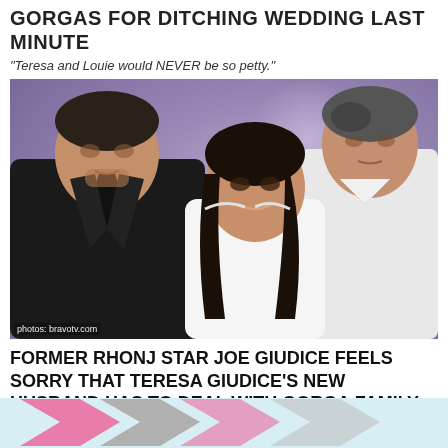GORGAS FOR DITCHING WEDDING LAST MINUTE
"Teresa and Louie would NEVER be so petty."
[Figure (photo): Composite photo: Joe Giudice on left (dark jacket, serious expression) overlaid with Teresa Giudice and Luis Ruelas on right (Teresa in white dress, Louie in white shirt, purple bokeh background). Photo credit: photos: bravotv.com]
FORMER RHONJ STAR JOE GIUDICE FEELS SORRY THAT TERESA GIUDICE'S NEW HUSBAND HAS TO DEAL WITH GORGA FAMILY
"I dealt with that thorn in my side for 20 years."
[Figure (illustration): Partial bottom teaser image with pink and grey geometric arrow/chevron shapes on light blue background]